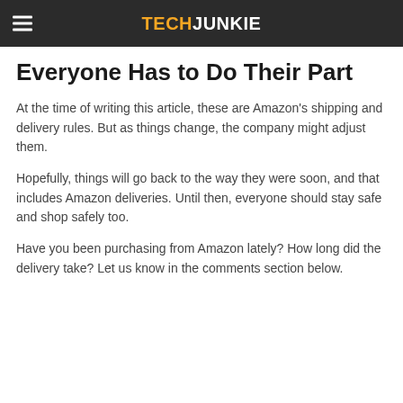TECHJUNKIE
Everyone Has to Do Their Part
At the time of writing this article, these are Amazon's shipping and delivery rules. But as things change, the company might adjust them.
Hopefully, things will go back to the way they were soon, and that includes Amazon deliveries. Until then, everyone should stay safe and shop safely too.
Have you been purchasing from Amazon lately? How long did the delivery take? Let us know in the comments section below.